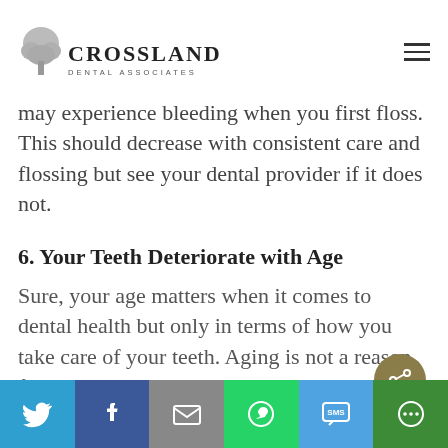Crossland Dental Associates
may experience bleeding when you first floss. This should decrease with consistent care and flossing but see your dental provider if it does not.
6. Your Teeth Deteriorate with Age
Sure, your age matters when it comes to dental health but only in terms of how you take care of your teeth. Aging is not a reason for teeth to be deteriorated or decayed and if you use proper dental hygiene, your teeth in your older